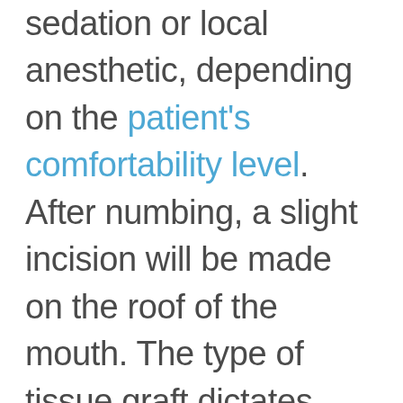sedation or local anesthetic, depending on the patient's comfortability level. After numbing, a slight incision will be made on the roof of the mouth. The type of tissue graft dictates where the tissue is harvested from for your graft. If the tissue is taken